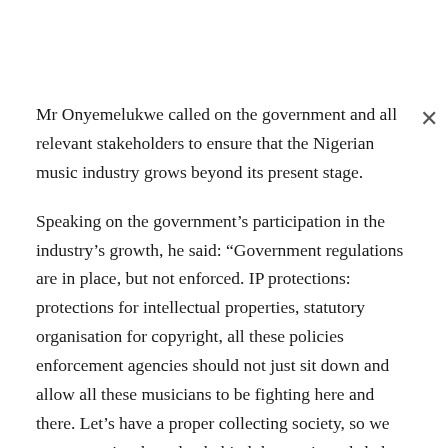Mr Onyemelukwe called on the government and all relevant stakeholders to ensure that the Nigerian music industry grows beyond its present stage.
Speaking on the government's participation in the industry's growth, he said: “Government regulations are in place, but not enforced. IP protections: protections for intellectual properties, statutory organisation for copyright, all these policies enforcement agencies should not just sit down and allow all these musicians to be fighting here and there. Let’s have a proper collecting society, so we can recognise the value behind the music and shake the body.”
Afrobeats and the Nigerian music